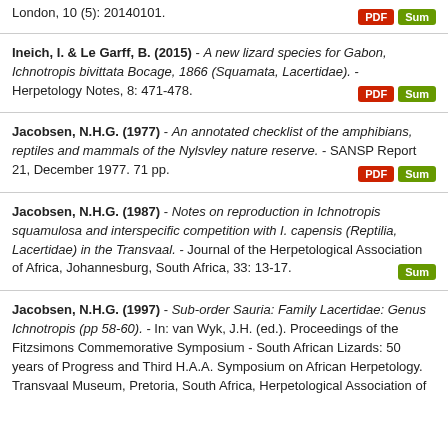London, 10 (5): 20140101.
Ineich, I. & Le Garff, B. (2015) - A new lizard species for Gabon, Ichnotropis bivittata Bocage, 1866 (Squamata, Lacertidae). - Herpetology Notes, 8: 471-478.
Jacobsen, N.H.G. (1977) - An annotated checklist of the amphibians, reptiles and mammals of the Nylsvley nature reserve. - SANSP Report 21, December 1977. 71 pp.
Jacobsen, N.H.G. (1987) - Notes on reproduction in Ichnotropis squamulosa and interspecific competition with I. capensis (Reptilia, Lacertidae) in the Transvaal. - Journal of the Herpetological Association of Africa, Johannesburg, South Africa, 33: 13-17.
Jacobsen, N.H.G. (1997) - Sub-order Sauria: Family Lacertidae: Genus Ichnotropis (pp 58-60). - In: van Wyk, J.H. (ed.). Proceedings of the Fitzsimons Commemorative Symposium - South African Lizards: 50 years of Progress and Third H.A.A. Symposium on African Herpetology. Transvaal Museum, Pretoria, South Africa, Herpetological Association of